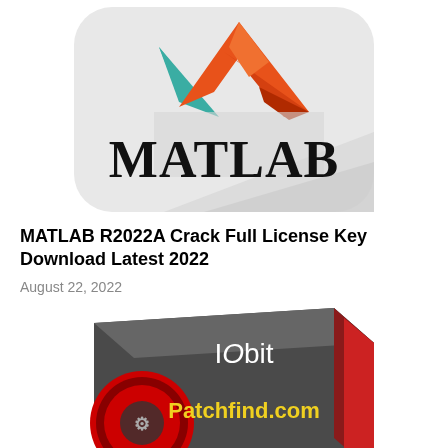[Figure (logo): MATLAB application logo — rounded rectangle with grey/white background, a stylized multi-color geometric peak chart icon in teal, orange, red and grey, with the word MATLAB in large black serif letters below the icon]
MATLAB R2022A Crack Full License Key Download Latest 2022
August 22, 2022
[Figure (photo): IObit software product box — dark grey/red box with a circular red and black gear-badge on the left side, white and yellow IObit logo text at top, and yellow text reading 'Patchfind.com' in the center. The box is partially visible, cropped at the bottom.]